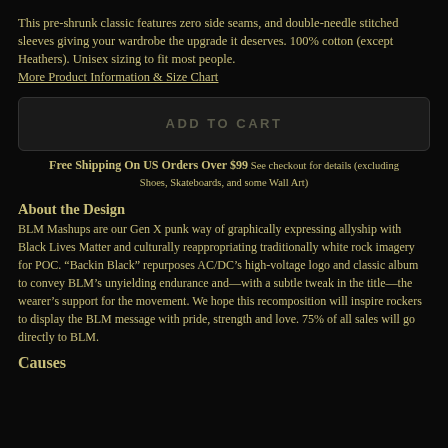This pre-shrunk classic features zero side seams, and double-needle stitched sleeves giving your wardrobe the upgrade it deserves. 100% cotton (except Heathers). Unisex sizing to fit most people.
More Product Information & Size Chart
[Figure (other): ADD TO CART button, dark background with rounded corners]
Free Shipping On US Orders Over $99 See checkout for details (excluding Shoes, Skateboards, and some Wall Art)
About the Design
BLM Mashups are our Gen X punk way of graphically expressing allyship with Black Lives Matter and culturally reappropriating traditionally white rock imagery for POC. “Backin Black” repurposes AC/DC’s high-voltage logo and classic album to convey BLM’s unyielding endurance and—with a subtle tweak in the title—the wearer’s support for the movement. We hope this recomposition will inspire rockers to display the BLM message with pride, strength and love. 75% of all sales will go directly to BLM.
Causes